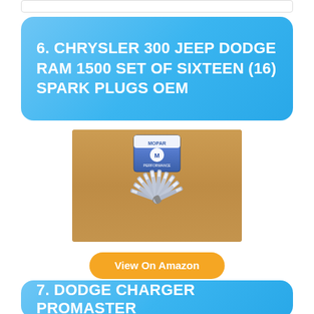6. CHRYSLER 300 JEEP DODGE RAM 1500 SET OF SIXTEEN (16) SPARK PLUGS OEM
[Figure (photo): Product photo showing a set of sixteen spark plugs arranged in a fan pattern on a wooden surface, with a blue Mopar box in the background.]
View On Amazon
7. DODGE CHARGER PROMASTER